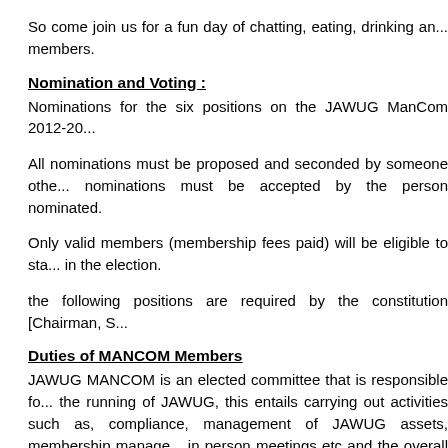So come join us for a fun day of chatting, eating, drinking an... members.
Nomination and Voting :
Nominations for the six positions on the JAWUG ManCom 2012-20...
All nominations must be proposed and seconded by someone othe... nominations must be accepted by the person nominated.
Only valid members (membership fees paid) will be eligible to sta... in the election.
the following positions are required by the constitution [Chairman, S...
Duties of MANCOM Members
JAWUG MANCOM is an elected committee that is responsible fo... the running of JAWUG, this entails carrying out activities such as, compliance, management of JAWUG assets, membership manage... in person meetings etc and the overall running of JAWUG as a for...
JAWUG MANCOM does not by duty participate in the technical a... the network, these activities are carried out by Core admins and th...